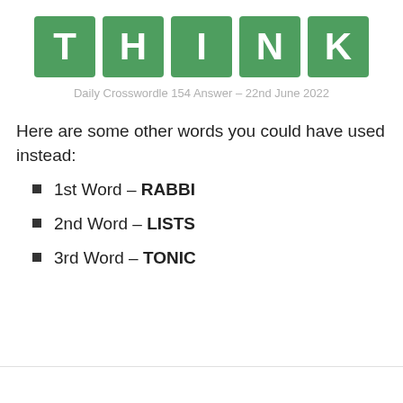[Figure (illustration): Five green square tiles spelling out THINK, each letter in white bold text on a green background]
Daily Crosswordle 154 Answer – 22nd June 2022
Here are some other words you could have used instead:
1st Word – RABBI
2nd Word – LISTS
3rd Word – TONIC